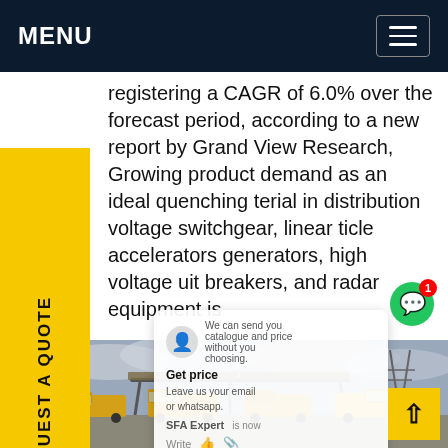MENU
registering a CAGR of 6.0% over the forecast period, according to a new report by Grand View Research, Growing product demand as an ideal quenching terial in distribution voltage switchgear, linear ticle accelerators generators, high voltage uit breakers, and radar equipment is
[Figure (photo): Yellow utility trucks parked at an outdoor station with overhead power line structures, overcast sky]
Get price - We can send you catalogue and price without you choosing. Leave us your email or whatsapp. SFA Expert is now. Write.